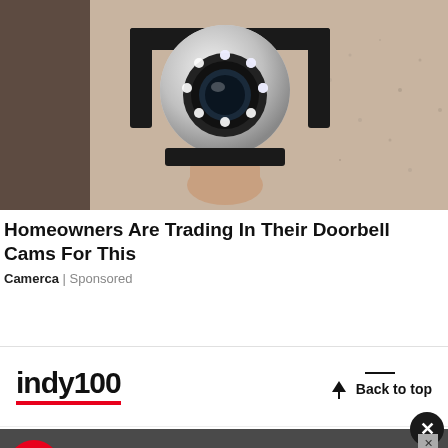[Figure (photo): Security camera mounted on a wall bracket against a textured beige/tan wall. The camera is silver/chrome with a circular lens surrounded by LED lights, mounted on a black bracket.]
Homeowners Are Trading In Their Doorbell Cams For This
Camerca | Sponsored
[Figure (logo): indy100 logo in bold black text with a red underline bar]
Back to top
[Figure (infographic): Advertisement banner: red circular badge with white eagle/bird icon, text 'Making an international money transfer? Get bank-beating exchange rates' on dark gray background. X close button at top right.]